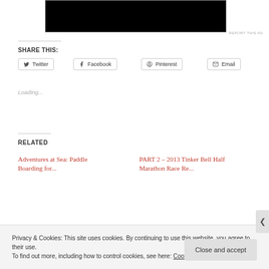[Figure (screenshot): Top portion of a webpage showing a black video/image embed area]
REPORT THIS AD
SHARE THIS:
Twitter
Facebook
Pinterest
Email
Loading...
RELATED
Adventures at Sea: Paddle Boarding for...
PART 2 – 2013 Tinker Bell Half Marathon Race Re...
Privacy & Cookies: This site uses cookies. By continuing to use this website, you agree to their use.
To find out more, including how to control cookies, see here: Cookie Policy
Close and accept